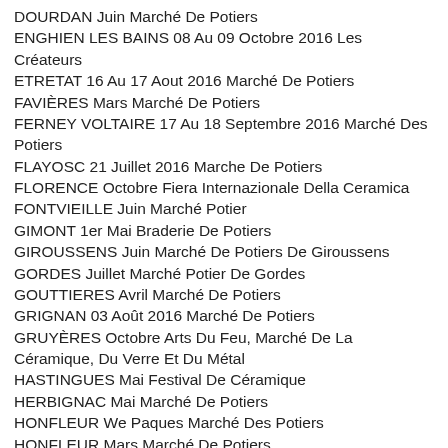DOURDAN Juin Marché De Potiers
ENGHIEN LES BAINS 08 Au 09 Octobre 2016 Les Créateurs
ETRETAT 16 Au 17 Aout 2016 Marché De Potiers
FAVIÈRES Mars Marché De Potiers
FERNEY VOLTAIRE 17 Au 18 Septembre 2016 Marché Des Potiers
FLAYOSC 21 Juillet 2016 Marche De Potiers
FLORENCE Octobre Fiera Internazionale Della Ceramica
FONTVIEILLE Juin Marché Potier
GIMONT 1er Mai Braderie De Potiers
GIROUSSENS Juin Marché De Potiers De Giroussens
GORDES Juillet Marché Potier De Gordes
GOUTTIERES Avril Marché De Potiers
GRIGNAN 03 Août 2016 Marché De Potiers
GRUYÈRES Octobre Arts Du Feu, Marché De La Céramique, Du Verre Et Du Métal
HASTINGUES Mai Festival De Céramique
HERBIGNAC Mai Marché De Potiers
HONFLEUR We Paques Marché Des Potiers
HONFLEUR Mars Marché De Potiers
HUSSEREN WESSERLING Avril Mai  Marché Des Potiers